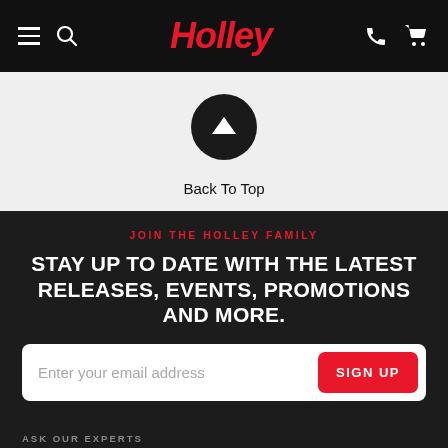Holley — Navigation bar with menu, search, phone, cart
[Figure (illustration): Back To Top button: black circle with white upward arrow, labeled 'Back To Top']
Back To Top
JOIN THE HOLLEY FAMILY
STAY UP TO DATE WITH THE LATEST RELEASES, EVENTS, PROMOTIONS AND MORE.
Enter your email address  SIGN UP
ASK OUR EXPERTS
1-866-464-6553